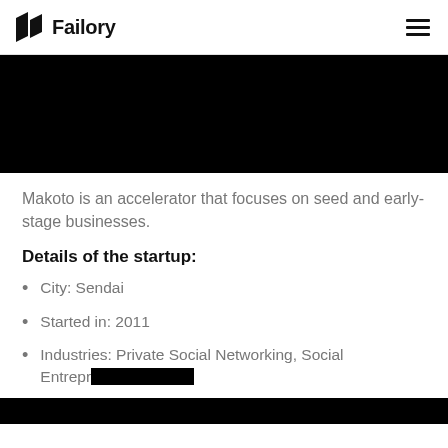Failory
[Figure (photo): Black hero image banner]
Makoto is an accelerator that focuses on seed and early-stage businesses.
Details of the startup:
City: Sendai
Started in: 2011
Industries: Private Social Networking, Social Entrepreneurship, Virtual